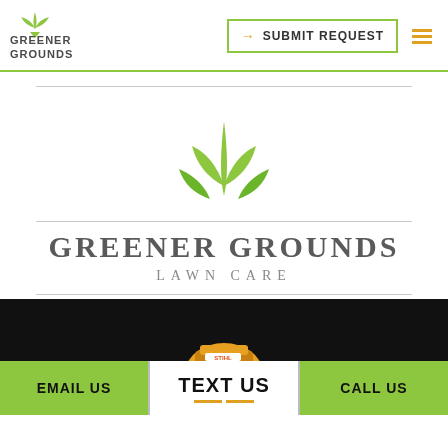[Figure (logo): Greener Grounds logo with green leaf/plant icon and text GREENER GROUNDS in top-left header]
→ SUBMIT REQUEST
[Figure (logo): Greener Grounds Lawn Care center logo with green leaves/flame icon above text GREENER GROUNDS Lawn Care, with horizontal divider lines]
[Figure (photo): Dark banner section with a person wearing a Stihl helmet/hard hat visible from the bottom]
EMAIL US
TEXT US
CALL US